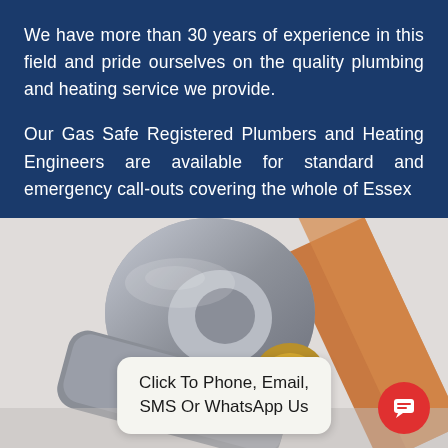We have more than 30 years of experience in this field and pride ourselves on the quality plumbing and heating service we provide.
Our Gas Safe Registered Plumbers and Heating Engineers are available for standard and emergency call-outs covering the whole of Essex
[Figure (photo): Close-up photo of a metal pipe wrench gripping a brass plumbing fitting, with a copper pipe visible in the upper right corner.]
Click To Phone, Email, SMS Or WhatsApp Us